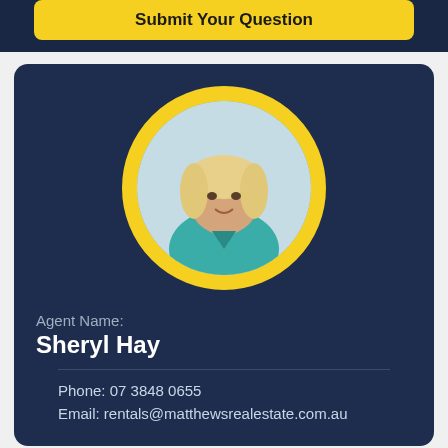Submit Your Question
[Figure (photo): Circular portrait photo of Sheryl Hay, a blonde woman wearing a teal blouse, with a yellow circular border, on a dark navy card background.]
Agent Name:
Sheryl Hay
Phone: 07 3848 0655
Email: rentals@matthewsrealestate.com.au